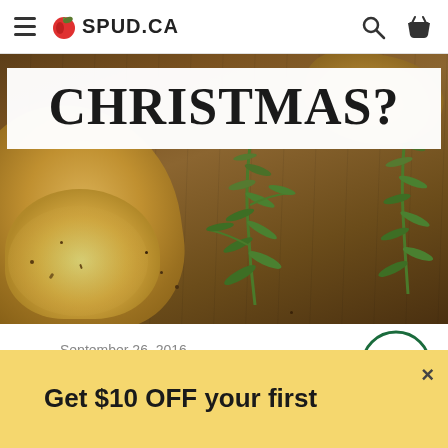SPUD.CA
[Figure (photo): Food photography showing bread/toast with spread and rosemary herbs on a wooden cutting board, warm brown tones]
CHRISTMAS?
September 26, 2016
Get $10 OFF your first